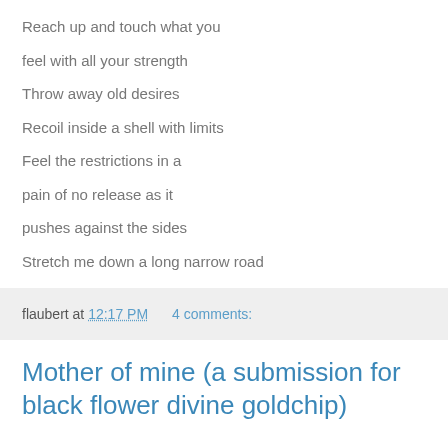Reach up and touch what you
feel with all your strength
Throw away old desires
Recoil inside a shell with limits
Feel the restrictions in a
pain of no release as it
pushes against the sides
Stretch me down a long narrow road
flaubert at 12:17 PM    4 comments:
Mother of mine (a submission for black flower divine goldchip)